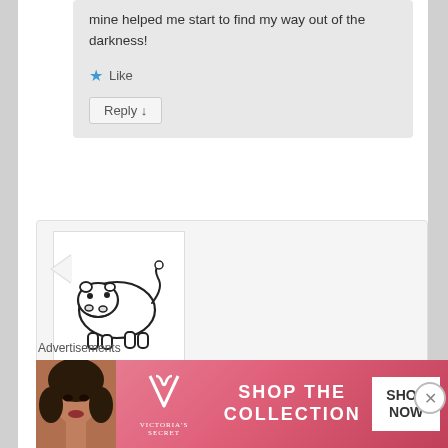mine helped me start to find my way out of the darkness!
Like
Reply ↓
[Figure (illustration): Cartoon hippo avatar image (Mel/Hippo256 user avatar) — black and white line drawing of a hippo]
Mel (Hippo256) on February 28, 2016 at 12:32 pm said:
Hi.
Advertisements
[Figure (photo): Victoria's Secret advertisement banner: woman's face on left, VS logo in center, 'SHOP THE COLLECTION' text, 'SHOP NOW' white button on right, pink/red background]